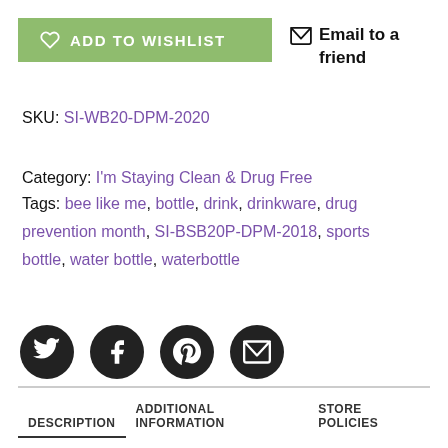[Figure (other): Green 'ADD TO WISHLIST' button with heart icon, and 'Email to a friend' link with envelope icon]
SKU: SI-WB20-DPM-2020
Category: I'm Staying Clean & Drug Free
Tags: bee like me, bottle, drink, drinkware, drug prevention month, SI-BSB20P-DPM-2018, sports bottle, water bottle, waterbotttle
[Figure (other): Social share icons: Twitter, Facebook, Pinterest, Email — dark circular buttons]
DESCRIPTION | ADDITIONAL INFORMATION | STORE POLICIES